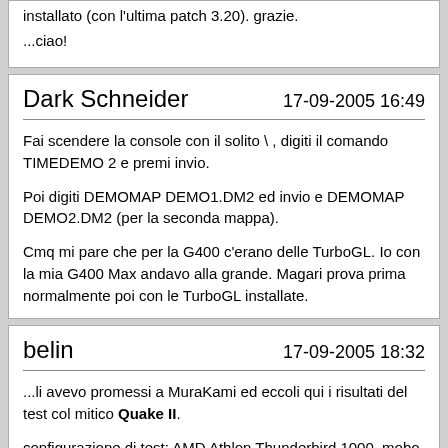installato (con l'ultima patch 3.20). grazie.

...ciao!
Dark Schneider
17-09-2005 16:49
Fai scendere la console con il solito \ , digiti il comando TIMEDEMO 2 e premi invio.

Poi digiti DEMOMAP DEMO1.DM2 ed invio e DEMOMAP DEMO2.DM2 (per la seconda mappa).

Cmq mi pare che per la G400 c'erano delle TurboGL. Io con la mia G400 Max andavo alla grande. Magari prova prima normalmente poi con le TurboGL installate.
belin
17-09-2005 18:32
...li avevo promessi a MuraKami ed eccoli qui i risultati del test col mitico Quake II.

configuraizone di test: AMD Athlon Thunderbird 1000, mobo Chaintech (chipset Via KT133), ram 768mb, Matrox Marvel G400 16mb, Windows XP sp2.

Quake II, patch 3.20, driver OpenGL default, texture 8 bit, full screen, dettagli al massimo.